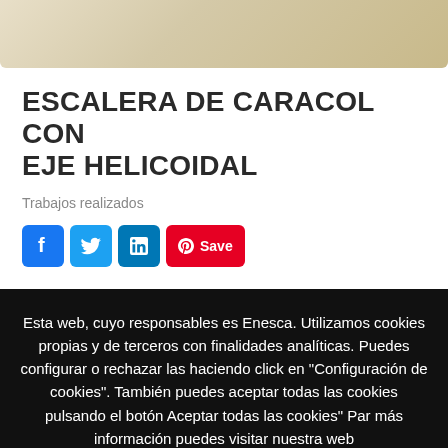[Figure (photo): Top portion of a beige/cream colored stone or tile surface image, cropped at top]
ESCALERA DE CARACOL CON EJE HELICOIDAL
Trabajos realizados
[Figure (infographic): Social media sharing icons: Facebook (blue), Twitter (blue), LinkedIn (blue), and Pinterest Save button (red)]
Esta web, cuyo responsables es Enesca. Utilizamos cookies propias y de terceros con finalidades analíticas. Puedes configurar o rechazar las haciendo click en "Configuración de cookies". También puedes aceptar todas las cookies pulsando el botón Aceptar todas las cookies" Par más información puedes visitar nuestra web
Saber más
CONFIGURACIÓN DE COOKIES
ACEPTAR TODAS LAS COOKIES